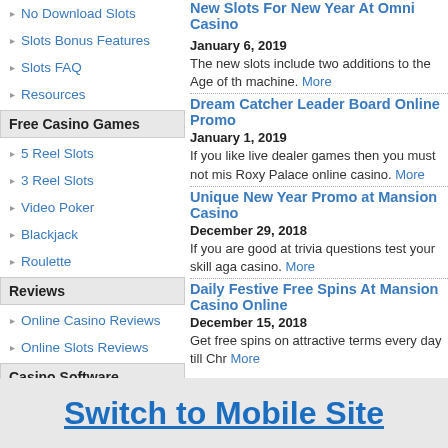No Download Slots
Slots Bonus Features
Slots FAQ
Resources
Free Casino Games
5 Reel Slots
3 Reel Slots
Video Poker
Blackjack
Roulette
Reviews
Online Casino Reviews
Online Slots Reviews
Casino Software
New Slots For New Year At Omni Casino
January 6, 2019
The new slots include two additions to the Age of th machine. More
Dream Catcher Leader Board Online Promo
January 1, 2019
If you like live dealer games then you must not mis Roxy Palace online casino. More
Unique New Year Promo at Mansion Casino
December 29, 2018
If you are good at trivia questions test your skill aga casino. More
Daily Festive Free Spins At Mansion Casino Online
December 15, 2018
Get free spins on attractive terms every day till Chr More
Switch to Mobile Site